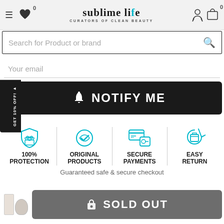[Figure (screenshot): Sublime Life website header with hamburger menu, heart icon with badge '0', logo 'sublime life CURATORS OF CLEAN BEAUTY', person icon, and cart icon with badge '0']
Search for Product or brand
Your email
GET 10% OFF! ▸
🔔 NOTIFY ME
[Figure (infographic): Four trust badge icons: shield with cart (100% PROTECTION), badge with checkmark (ORIGINAL PRODUCTS), credit cards (SECURE PAYMENTS), box with arrows (EASY RETURN), separated by vertical lines]
100% PROTECTION
ORIGINAL PRODUCTS
SECURE PAYMENTS
EASY RETURN
Guaranteed safe & secure checkout
🔒 SOLD OUT